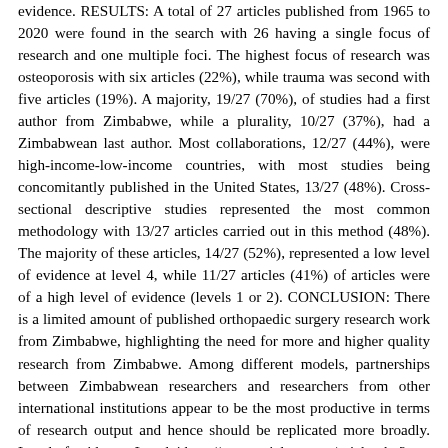evidence. RESULTS: A total of 27 articles published from 1965 to 2020 were found in the search with 26 having a single focus of research and one multiple foci. The highest focus of research was osteoporosis with six articles (22%), while trauma was second with five articles (19%). A majority, 19/27 (70%), of studies had a first author from Zimbabwe, while a plurality, 10/27 (37%), had a Zimbabwean last author. Most collaborations, 12/27 (44%), were high-income-low-income countries, with most studies being concomitantly published in the United States, 13/27 (48%). Cross-sectional descriptive studies represented the most common methodology with 13/27 articles carried out in this method (48%). The majority of these articles, 14/27 (52%), represented a low level of evidence at level 4, while 11/27 articles (41%) of articles were of a high level of evidence (levels 1 or 2). CONCLUSION: There is a limited amount of published orthopaedic surgery research work from Zimbabwe, highlighting the need for more and higher quality research from Zimbabwe. Among different models, partnerships between Zimbabwean researchers and researchers from other international institutions appear to be the most productive in terms of research output and hence should be replicated more broadly. Level of evidence: Level 4 http://www.scielo.org.za/scielo.php?script=sci_arttext&pid=S1681-150X2022000200007&lng=es&nrm=iso&tlng=es BACKGROUND: Below-knee amputation (BKA) is the safest